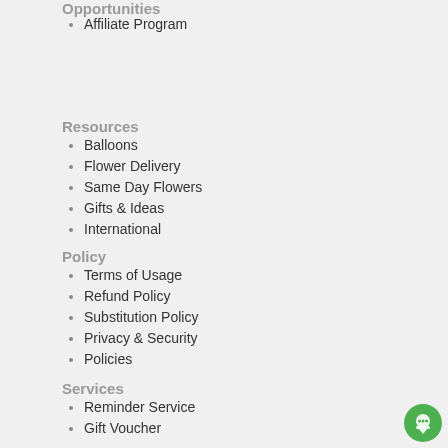Opportunities
Affiliate Program
Resources
Balloons
Flower Delivery
Same Day Flowers
Gifts & Ideas
International
Policy
Terms of Usage
Refund Policy
Substitution Policy
Privacy & Security
Policies
Services
Reminder Service
Gift Voucher